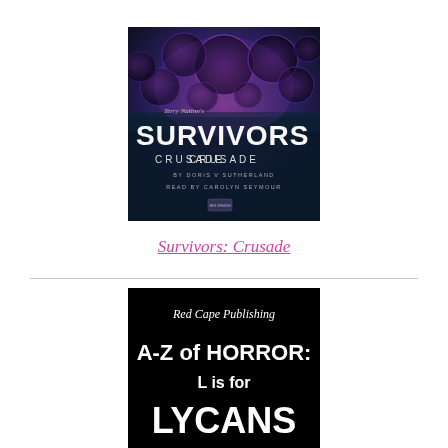[Figure (illustration): Book cover for 'Survivors: Crusade' — dark purple/blue background with cell-like bubble shapes, large bold white text 'SURVIVORS', subtitle 'CRUSADE', 'BY DORIS V SUTHERLAND', 'READ BY CAROLYN SEYMOUR', small logo at bottom.]
Survivors: Crusade
[Figure (illustration): Book cover for 'A-Z of Horror: L is for Lycans' — black background, italic script 'Red Cape Publishing' at top, large white bold text 'A-Z of HORROR: L is for LYCANS'.]